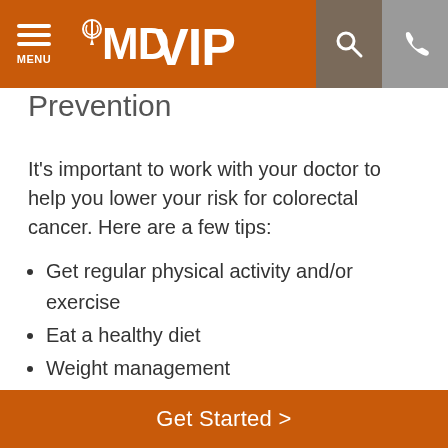MDVIP
Prevention
It's important to work with your doctor to help you lower your risk for colorectal cancer. Here are a few tips:
Get regular physical activity and/or exercise
Eat a healthy diet
Weight management
Polyp removal
Some studies have found that aspirin therapy may help lower your risk for colorectal cancer. Make sure you talk to your doctor before beginning an aspirin regimen, exercise program or new diet. Also talk to
Get Started >